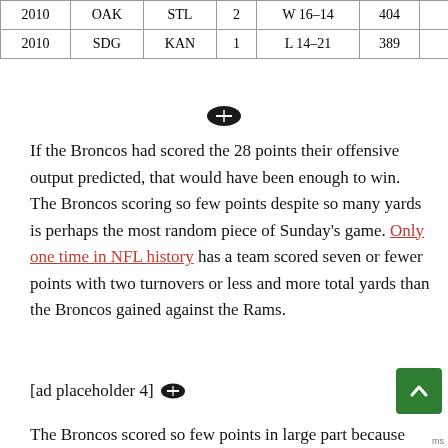| Year | Team | Opp | Num | Result | Yards | ... |
| --- | --- | --- | --- | --- | --- | --- |
| 2010 | OAK | STL | 2 | W 16-14 | 404 |  |
| 2010 | SDG | KAN | 1 | L 14-21 | 389 |  |
[Figure (other): Football icon divider]
If the Broncos had scored the 28 points their offensive output predicted, that would have been enough to win. The Broncos scoring so few points despite so many yards is perhaps the most random piece of Sunday's game. Only one time in NFL history has a team scored seven or fewer points with two turnovers or less and more total yards than the Broncos gained against the Rams.
[ad placeholder 4]
The Broncos scored so few points in large part because they needed to roll the boulder up from the bottom of the hill on every possession. The Broncos